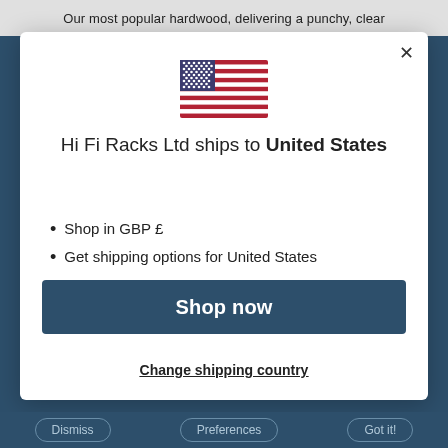Our most popular hardwood, delivering a punchy, clear
[Figure (illustration): US flag SVG illustration]
Hi Fi Racks Ltd ships to United States
Shop in GBP £
Get shipping options for United States
Shop now
Change shipping country
Dismiss   Preferences   Got it!